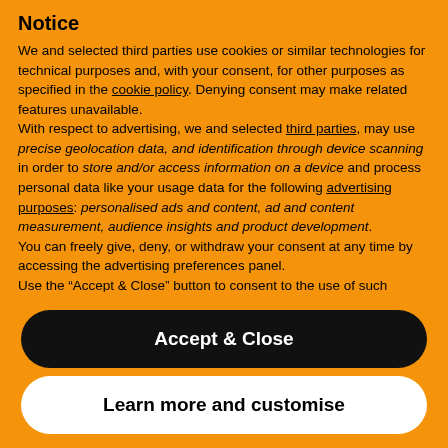Notice
We and selected third parties use cookies or similar technologies for technical purposes and, with your consent, for other purposes as specified in the cookie policy. Denying consent may make related features unavailable.
With respect to advertising, we and selected third parties, may use precise geolocation data, and identification through device scanning in order to store and/or access information on a device and process personal data like your usage data for the following advertising purposes: personalised ads and content, ad and content measurement, audience insights and product development.
You can freely give, deny, or withdraw your consent at any time by accessing the advertising preferences panel.
Use the “Accept & Close” button to consent to the use of such
Accept & Close
Learn more and customise